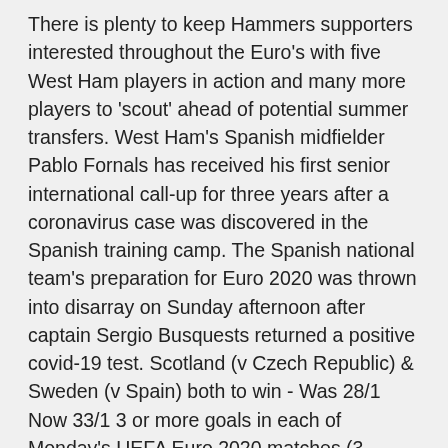There is plenty to keep Hammers supporters interested throughout the Euro's with five West Ham players in action and many more players to 'scout' ahead of potential summer transfers. West Ham's Spanish midfielder Pablo Fornals has received his first senior international call-up for three years after a coronavirus case was discovered in the Spanish training camp. The Spanish national team's preparation for Euro 2020 was thrown into disarray on Sunday afternoon after captain Sergio Busquests returned a positive covid-19 test. Scotland (v Czech Republic) & Sweden (v Spain) both to win - Was 28/1 Now 33/1 3 or more goals in each of Monday's UEFA Euro 2020 matches (3 matches) - Was 11/1 Now 14/1 BoyleSports - Bet £10 Get UEFA Euro 2020 Live Score, Spain vs Sweden Updates: Spain start their campaign in Seville against familiar opponents from qualifying, the last time Sweden & Spain met is from 1